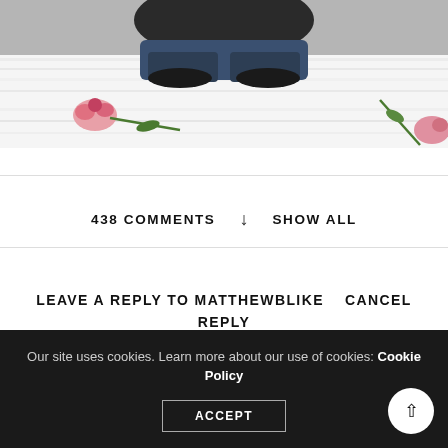[Figure (photo): Person sitting cross-legged on a white fluffy rug with pink roses and green stems scattered around them, wearing jeans. Dark tones at top, white/cream textured rug dominates.]
438 COMMENTS ↓ SHOW ALL
LEAVE A REPLY TO MATTHEWBLIKE   CANCEL REPLY
Your email address will not be published.
Our site uses cookies. Learn more about our use of cookies: Cookie Policy
ACCEPT